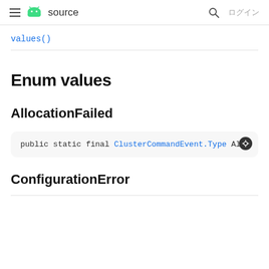≡ Android source  🔍 ログイン
values()
Enum values
AllocationFailed
public static final ClusterCommandEvent.Type Alloc
ConfigurationError